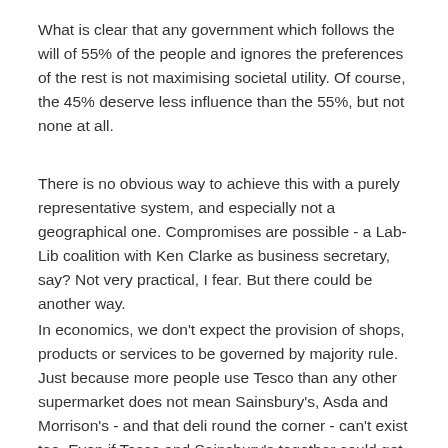What is clear that any government which follows the will of 55% of the people and ignores the preferences of the rest is not maximising societal utility. Of course, the 45% deserve less influence than the 55%, but not none at all.
There is no obvious way to achieve this with a purely representative system, and especially not a geographical one. Compromises are possible - a Lab-Lib coalition with Ken Clarke as business secretary, say? Not very practical, I fear. But there could be another way.
In economics, we don't expect the provision of shops, products or services to be governed by majority rule. Just because more people use Tesco than any other supermarket does not mean Sainsbury's, Asda and Morrison's - and that deli round the corner - can't exist too. Even if Tesco and Sainsbury's together could get over 50% of the market, they couldn't just abolish the others.